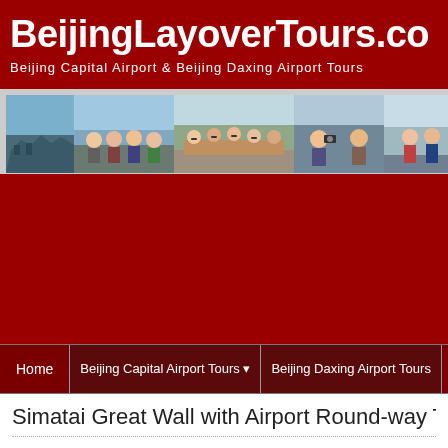BeijingLayoverTours.com
Beijing Capital Airport & Beijing Daxing Airport Tours
[Figure (photo): Strip of tourist photos at Beijing landmarks including the Great Wall and Tiananmen Square]
Home | Beijing Capital Airport Tours | Beijing Daxing Airport Tours | C
Simatai Great Wall with Airport Round-way Tr
Share / Save